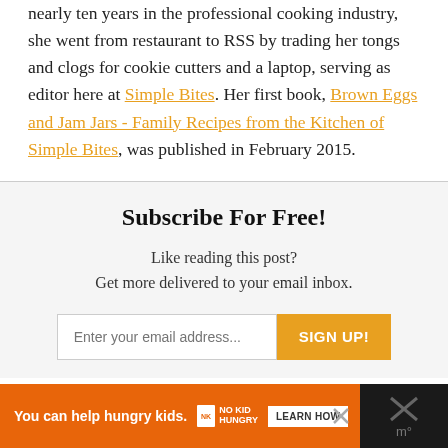nearly ten years in the professional cooking industry, she went from restaurant to RSS by trading her tongs and clogs for cookie cutters and a laptop, serving as editor here at Simple Bites. Her first book, Brown Eggs and Jam Jars - Family Recipes from the Kitchen of Simple Bites, was published in February 2015.
Subscribe For Free!
Like reading this post?
Get more delivered to your email inbox.
[Figure (infographic): Email subscription form with text input 'Enter your email address...' and orange 'SIGN UP!' button]
[Figure (infographic): Advertisement bar: orange background with 'You can help hungry kids.' text, No Kid Hungry logo, and 'LEARN HOW' button on black background]